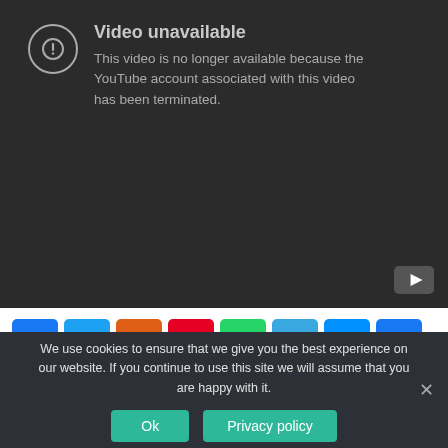[Figure (screenshot): YouTube embedded video player showing 'Video unavailable' error message with an exclamation icon. Text reads: 'Video unavailable — This video is no longer available because the YouTube account associated with this video has been terminated.' A YouTube logo icon appears in the bottom right of the player.]
[Figure (screenshot): Row of social media share icon buttons: Facebook (blue), Twitter (light blue), Reddit (orange), Pinterest (red), WhatsApp (green), Telegram (blue), Messenger (blue), and a more button (blue).]
We use cookies to ensure that we give you the best experience on our website. If you continue to use this site we will assume that you are happy with it.
Ok
Privacy policy